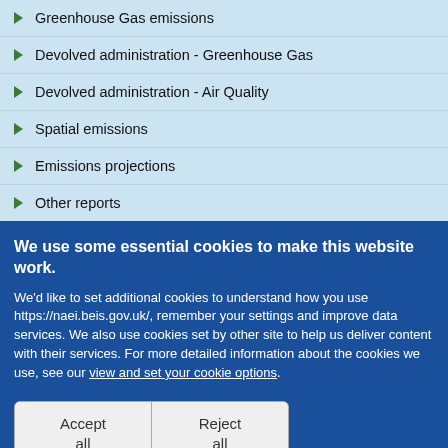Greenhouse Gas emissions
Devolved administration - Greenhouse Gas
Devolved administration - Air Quality
Spatial emissions
Emissions projections
Other reports
We use some essential cookies to make this website work.
We'd like to set additional cookies to understand how you use https://naei.beis.gov.uk/, remember your settings and improve data services. We also use cookies set by other site to help us deliver content with their services. For more detailed information about the cookies we use, see our view and set your cookie options.